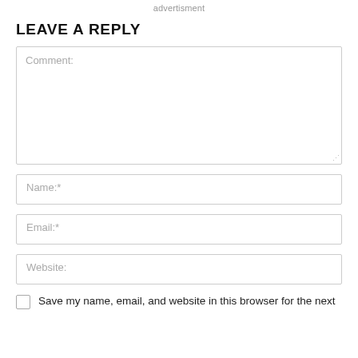advertisment
LEAVE A REPLY
Comment:
Name:*
Email:*
Website:
Save my name, email, and website in this browser for the next